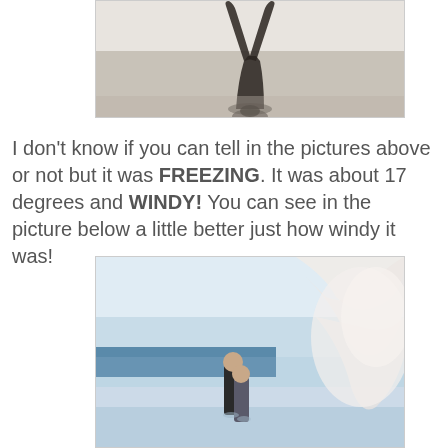[Figure (photo): Black and white photo showing a person doing a handstand or acrobatic pose on a snowy or wintry beach/field, seen from below with legs in the air]
I don't know if you can tell in the pictures above or not but it was FREEZING. It was about 17 degrees and WINDY! You can see in the picture below a little better just how windy it was!
[Figure (photo): Color photo of two people (a couple) standing on a windy beach with a large wave or spray of water/snow crashing dramatically behind them on the right side]